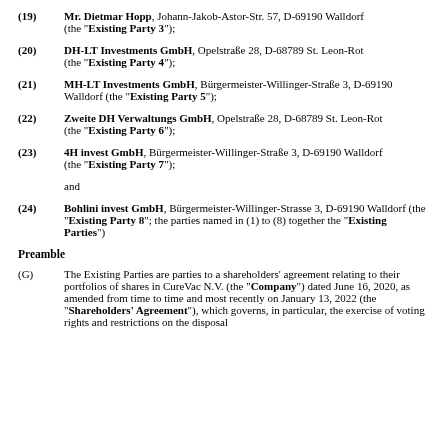(19) Mr. Dietmar Hopp, Johann-Jakob-Astor-Str. 57, D-69190 Walldorf (the "Existing Party 3");
(20) DH-LT Investments GmbH, Opelstraße 28, D-68789 St. Leon-Rot (the "Existing Party 4");
(21) MH-LT Investments GmbH, Bürgermeister-Willinger-Straße 3, D-69190 Walldorf (the "Existing Party 5");
(22) Zweite DH Verwaltungs GmbH, Opelstraße 28, D-68789 St. Leon-Rot (the "Existing Party 6");
(23) 4H invest GmbH, Bürgermeister-Willinger-Straße 3, D-69190 Walldorf (the "Existing Party 7");
and
(24) Bohlini invest GmbH, Bürgermeister-Willinger-Strasse 3, D-69190 Walldorf (the "Existing Party 8"; the parties named in (1) to (8) together the "Existing Parties")
Preamble
(G) The Existing Parties are parties to a shareholders' agreement relating to their portfolios of shares in CureVac N.V. (the "Company") dated June 16, 2020, as amended from time to time and most recently on January 13, 2022 (the "Shareholders' Agreement"), which governs, in particular, the exercise of voting rights and restrictions on the disposal of their shares.